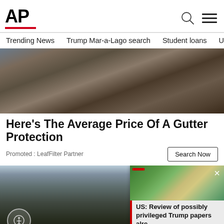AP
Trending News
Trump Mar-a-Lago search
Student loans
U.S.
[Figure (photo): A worker cleaning or installing gutter protection on a roofline, wearing gloves, with rooftop shingles visible]
Here's The Average Price Of A Gutter Protection
Promoted : LeafFilter Partner
[Figure (photo): Dark rocky landscape with charred or volcanic terrain under a light blue sky]
[Figure (photo): Aerial view of Mar-a-Lago estate with red rooftop, pools, and surrounding greenery]
US: Review of possibly privileged Trump papers alre...